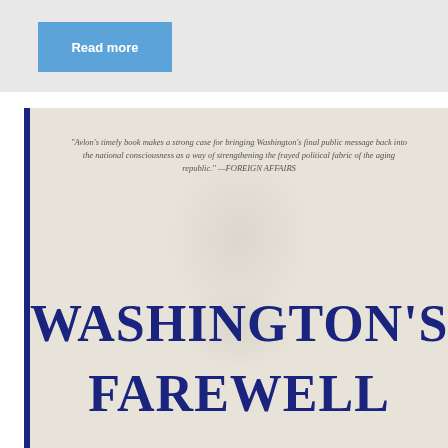[Figure (other): Blue 'Read more' button on a light grey background bar]
[Figure (illustration): Book cover of 'Washington's Farewell' with a faint portrait watermark in the background, a blurb from Foreign Affairs, and the title in large dark blue serif font. A dark blue stripe runs along the left edge.]
"Avlon's timely book makes a strong case for bringing Washington's final public message back into the national consciousness as a way of strengthening the frayed political fabric of the aging republic." —FOREIGN AFFAIRS
WASHINGTON'S FAREWELL